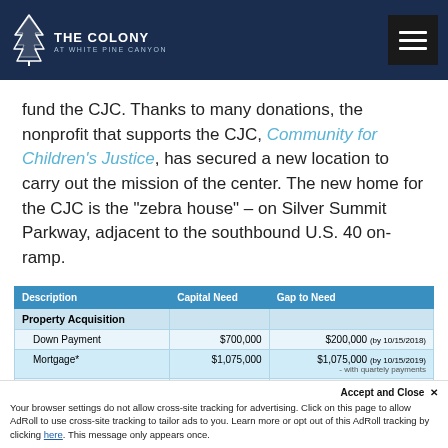[Figure (logo): The Colony at White Pine Canyon logo with tree icon and hamburger menu button on dark navy header]
fund the CJC. Thanks to many donations, the nonprofit that supports the CJC, Community for Children's Justice, has secured a new location to carry out the mission of the center. The new home for the CJC is the "zebra house" – on Silver Summit Parkway, adjacent to the southbound U.S. 40 on-ramp.
| Description | Capital Need | Gap to Need |
| --- | --- | --- |
| Property Acquisition |  |  |
| Down Payment | $700,000 | $200,000 (by 10/15/2018) |
| Mortgage* | $1,075,000 | $1,075,000 (by 10/15/2019) - with quartely payments |
| Building Retrofit | ~$400,000 | $400,000 (~ 10/01/2018) |
Accept and Close ✕
Your browser settings do not allow cross-site tracking for advertising. Click on this page to allow AdRoll to use cross-site tracking to tailor ads to you. Learn more or opt out of this AdRoll tracking by clicking here. This message only appears once.